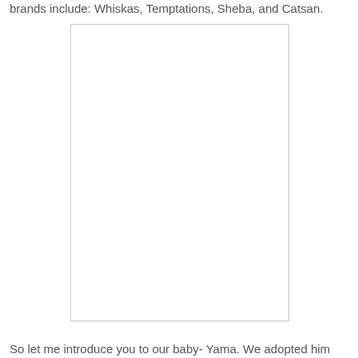brands include: Whiskas, Temptations, Sheba, and Catsan.
[Figure (photo): A blank white rectangular image placeholder with a light border, representing a photo area.]
So let me introduce you to our baby- Yama. We adopted him